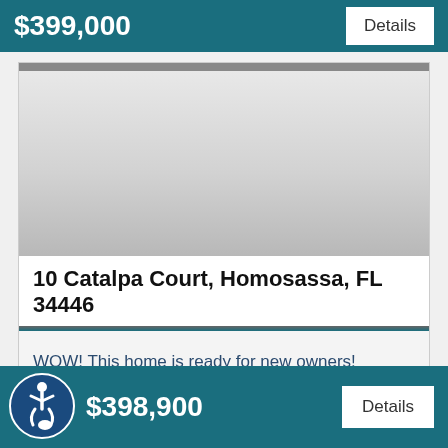$399,000
Details
[Figure (photo): Property photo placeholder — light grey gradient image area for 10 Catalpa Court listing]
10 Catalpa Court, Homosassa, FL 34446
WOW! This home is ready for new owners! Located on a quiet cul-de-sac, this home...
$398,900
Details